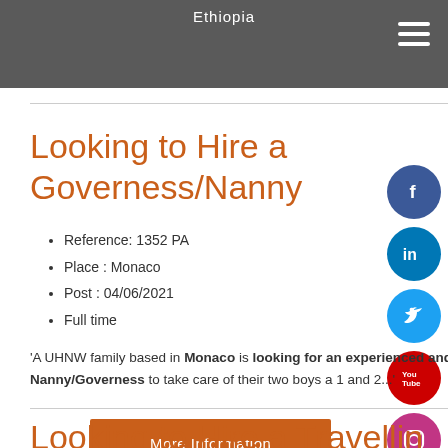Ethiopia
Looking to Hire a Governess/Nanny
Reference: 1352 PA
Place : Monaco
Post : 04/06/2021
Full time
'A UHNW family based in Monaco is looking for an experienced and qualified live-in Nanny/Governess to take care of their two boys a 1 and 2...'
More Information